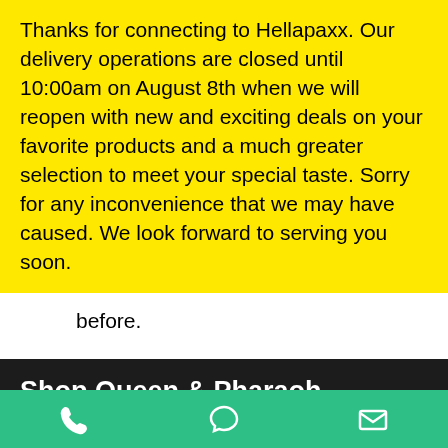Thanks for connecting to Hellapaxx. Our delivery operations are closed until 10:00am on August 8th when we will reopen with new and exciting deals on your favorite products and a much greater selection to meet your special taste. Sorry for any inconvenience that we may have caused. We look forward to serving you soon.
before.
Shop Queen & Pharaoh
Contact (925) 351-5997 to order delivery.
SHOP TOPICALS